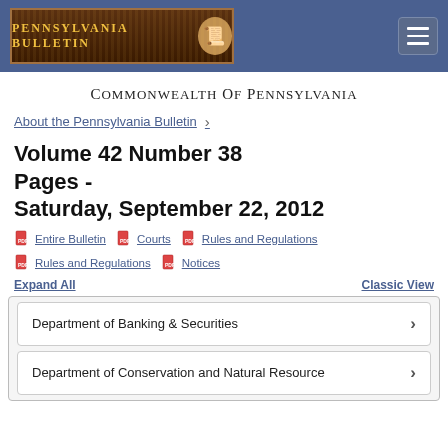Pennsylvania Bulletin
Commonwealth Of Pennsylvania
About the Pennsylvania Bulletin
Volume 42 Number 38 Pages - Saturday, September 22, 2012
Entire Bulletin   Courts   Rules and Regulations   Rules and Regulations   Notices
Expand All   Classic View
Department of Banking & Securities
Department of Conservation and Natural Resource